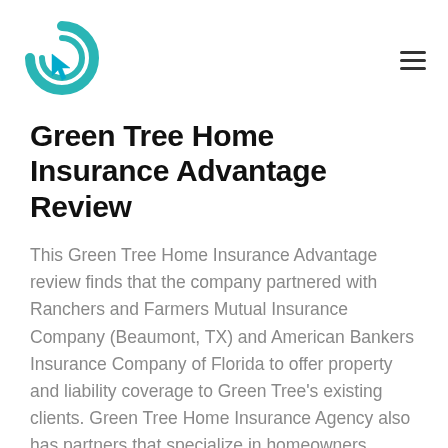[Figure (logo): Green circular logo with arrow cursor icon in teal/cyan color]
Green Tree Home Insurance Advantage Review
This Green Tree Home Insurance Advantage review finds that the company partnered with Ranchers and Farmers Mutual Insurance Company (Beaumont, TX) and American Bankers Insurance Company of Florida to offer property and liability coverage to Green Tree's existing clients. Green Tree Home Insurance Agency also has partners that specialize in homeowners insurance designed for